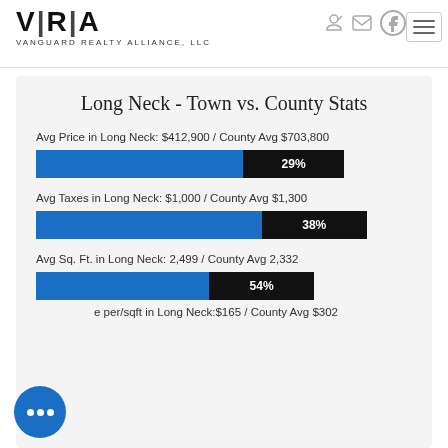VANGUARD REALTY ALLIANCE, LLC
Long Neck - Town vs. County Stats
Avg Price in Long Neck: $412,900 / County Avg $703,800
[Figure (bar-chart): Avg Price]
Avg Taxes in Long Neck: $1,000 / County Avg $1,300
[Figure (bar-chart): Avg Taxes]
Avg Sq. Ft. in Long Neck: 2,499 / County Avg 2,332
[Figure (bar-chart): Avg Sq Ft]
Avg price per/sqft in Long Neck: $165 / County Avg $302